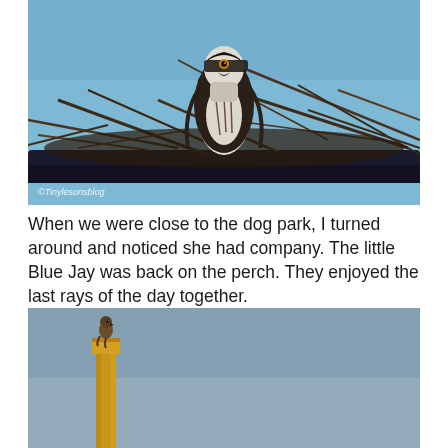[Figure (photo): An osprey sitting in a large stick nest on what appears to be a platform or structure, looking upward against a blue sky. The nest is made of interwoven branches and twigs. A watermark reads ©Tinylesonsblog in the lower left corner.]
When we were close to the dog park, I turned around and noticed she had company. The little Blue Jay was back on the perch. They enjoyed the last rays of the day together.
[Figure (photo): A bird perched atop a tall wooden post or pole against a blue-gray sky. The bird is small and sits at the very top of the post.]